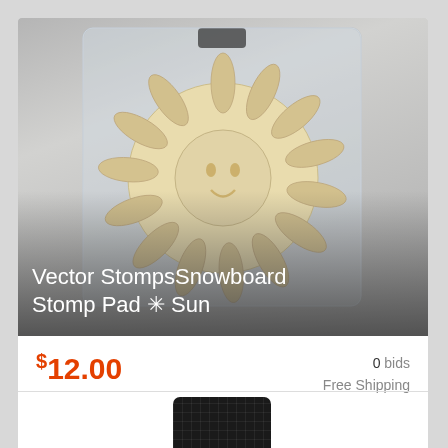[Figure (photo): Product photo of a Vector Stomps Snowboard Stomp Pad shaped like a sun, cream/beige colored, in clear plastic packaging. Displayed against a gray gradient background with the product name overlaid at the bottom.]
Vector StompsSnowboard Stomp Pad ✳ Sun
$12.00
0 bids
Free Shipping
Condition: New
Location: Arvada, United States
[Figure (logo): eBay logo with 'right now on' text above it]
[Figure (photo): Bottom portion of a second product listing showing a black textured snowboard stomp pad at the very bottom of the page.]